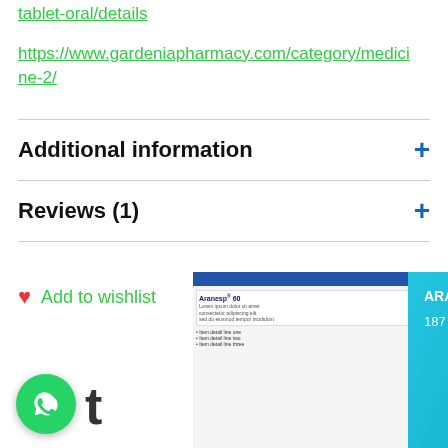tablet-oral/details
https://www.gardeniapharmacy.com/category/medicine-2/
Additional information
Reviews (1)
Add to wishlist
[Figure (screenshot): Popup notification showing ARANESP 60 MCG SYRINGE product with text '187 people seeing this product right now' on a teal background, with a product image thumbnail and WhatsApp chat button]